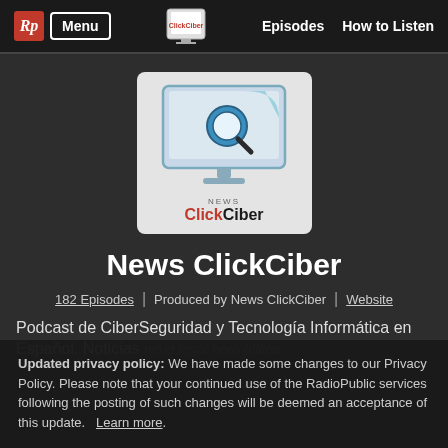Rp Menu | Episodes | How to Listen
[Figure (logo): ClickCiber podcast logo: a computer monitor with a magnifying glass icon, labeled 'News ClickCiber']
News ClickCiber
182 Episodes | Produced by News ClickCiber | Website
Podcast de CiberSeguridad y Tecnología Informática en Español. Noticias...
Updated privacy policy: We have made some changes to our Privacy Policy. Please note that your continued use of the RadioPublic services following the posting of such changes will be deemed an acceptance of this update. Learn more.